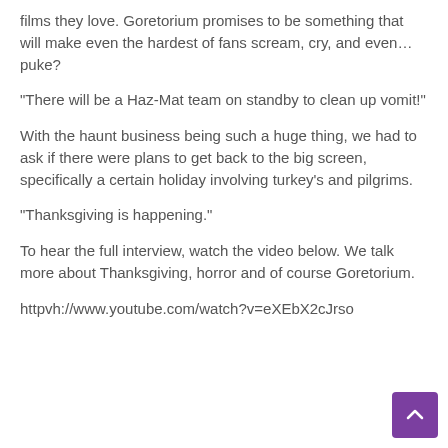films they love. Goretorium promises to be something that will make even the hardest of fans scream, cry, and even…puke?
“There will be a Haz-Mat team on standby to clean up vomit!”
With the haunt business being such a huge thing, we had to ask if there were plans to get back to the big screen, specifically a certain holiday involving turkey’s and pilgrims.
“Thanksgiving is happening.”
To hear the full interview, watch the video below. We talk more about Thanksgiving, horror and of course Goretorium.
httpvh://www.youtube.com/watch?v=eXEbX2cJrso